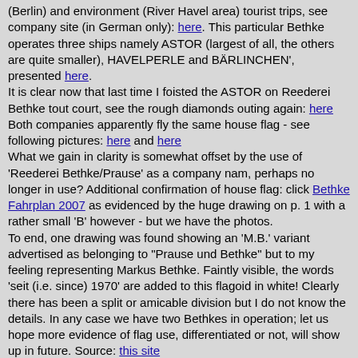(Berlin) and environment (River Havel area) tourist trips, see company site (in German only): here. This particular Bethke operates three ships namely ASTOR (largest of all, the others are quite smaller), HAVELPERLE and BÄRLINCHEN', presented here.
It is clear now that last time I foisted the ASTOR on Reederei Bethke tout court, see the rough diamonds outing again: here Both companies apparently fly the same house flag - see following pictures: here and here
What we gain in clarity is somewhat offset by the use of 'Reederei Bethke/Prause' as a company nam, perhaps no longer in use? Additional confirmation of house flag: click Bethke Fahrplan 2007 as evidenced by the huge drawing on p. 1 with a rather small 'B' however - but we have the photos.
To end, one drawing was found showing an 'M.B.' variant advertised as belonging to "Prause und Bethke" but to my feeling representing Markus Bethke. Faintly visible, the words 'seit (i.e. since) 1970' are added to this flagoid in white! Clearly there has been a split or amicable division but I do not know the details. In any case we have two Bethkes in operation; let us hope more evidence of flag use, differentiated or not, will show up in future. Source: this site
Jan Mertens, 26 Jul 2007